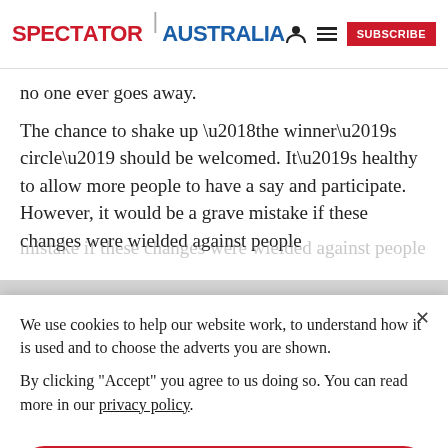SPECTATOR | AUSTRALIA
no one ever goes away.
The chance to shake up ‘the winner’s circle’ should be welcomed. It’s healthy to allow more people to have a say and participate. However, it would be a grave mistake if these changes were wielded against people
We use cookies to help our website work, to understand how it is used and to choose the adverts you are shown.
By clicking "Accept" you agree to us doing so. You can read more in our privacy policy.
Accept